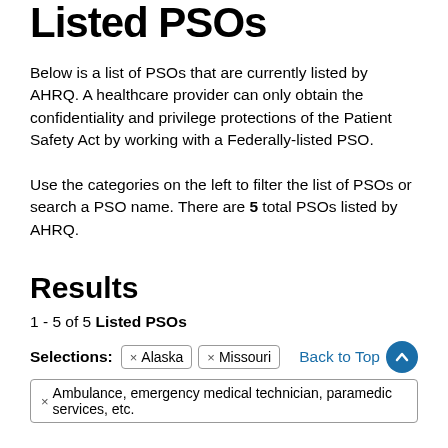Listed PSOs
Below is a list of PSOs that are currently listed by AHRQ. A healthcare provider can only obtain the confidentiality and privilege protections of the Patient Safety Act by working with a Federally-listed PSO.
Use the categories on the left to filter the list of PSOs or search a PSO name. There are 5 total PSOs listed by AHRQ.
Results
1 - 5 of 5 Listed PSOs
Selections: × Alaska × Missouri
× Ambulance, emergency medical technician, paramedic services, etc.